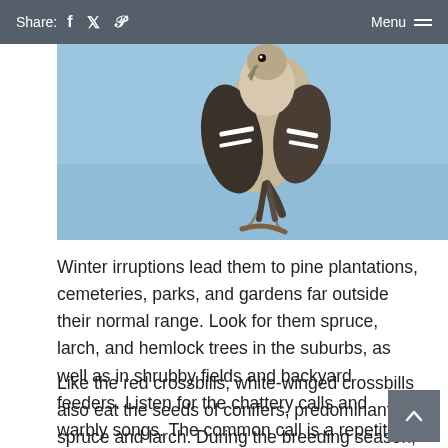Share: [facebook] [twitter] [pinterest]    Menu
[Figure (photo): Close-up photo of a white-winged crossbill bird hanging upside down, with a blue sky background]
Winter irruptions lead them to pine plantations, cemeteries, parks, and gardens far outside their normal range. Look for them spruce, larch, and hemlock trees in the suburbs, as well as in shrubby fields and backyard feeders. Listen for the chattery calls and warbly songs. The common call is a repetitive chit-chit-chit.
Like the red crossbills, white-winged crossbills also eat the seeds of conifers, predominantly spruce and larch. During the breeding season, they may supplement their diet with insects, spiders, and other invertebrates. Populations of